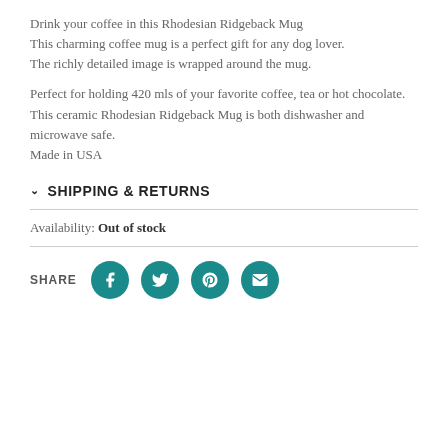Drink your coffee in this Rhodesian Ridgeback Mug
This charming coffee mug is a perfect gift for any dog lover.
The richly detailed image is wrapped around the mug.

Perfect for holding 420 mls of your favorite coffee, tea or hot chocolate.
This ceramic Rhodesian Ridgeback Mug is both dishwasher and microwave safe.
Made in USA
SHIPPING & RETURNS
Availability: Out of stock
[Figure (infographic): SHARE row with teal circular social media icons: Facebook, Twitter, Pinterest, Email]